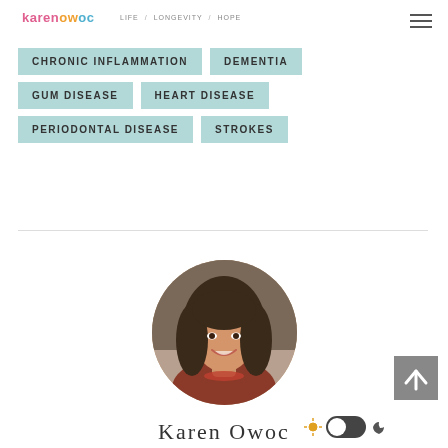karenowoc LIFE / LONGEVITY / HOPE
CHRONIC INFLAMMATION
DEMENTIA
GUM DISEASE
HEART DISEASE
PERIODONTAL DISEASE
STROKES
[Figure (photo): Circular portrait photo of Karen Owoc, a woman with long brown hair, smiling]
Karen Owoc